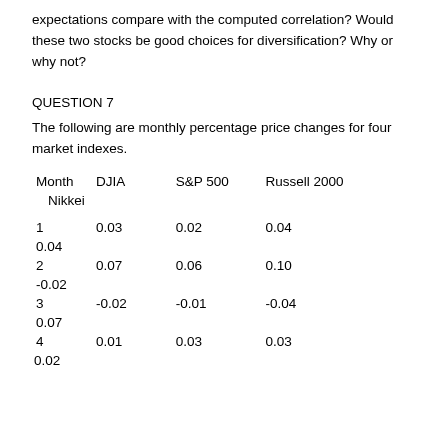expectations compare with the computed correlation? Would these two stocks be good choices for diversification? Why or why not?
QUESTION 7
The following are monthly percentage price changes for four market indexes.
| Month | DJIA | S&P 500 | Russell 2000 | Nikkei |
| --- | --- | --- | --- | --- |
| 1 | 0.03 | 0.02 | 0.04 | 0.04 |
| 2 | 0.07 | 0.06 | 0.10 | -0.02 |
| 3 | -0.02 | -0.01 | -0.04 | 0.07 |
| 4 | 0.01 | 0.03 | 0.03 | 0.02 |